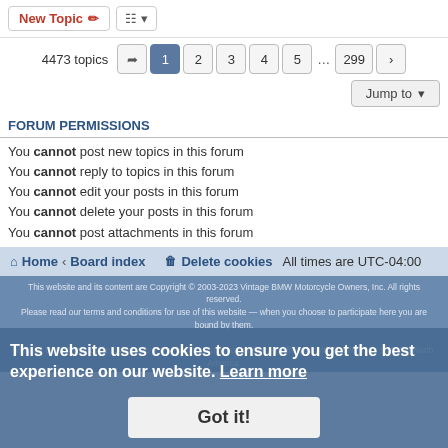New Topic | sort | 4473 topics | 1 2 3 4 5 ... 299
FORUM PERMISSIONS
You cannot post new topics in this forum
You cannot reply to topics in this forum
You cannot edit your posts in this forum
You cannot delete your posts in this forum
You cannot post attachments in this forum
Home · Board index   Delete cookies   All times are UTC-04:00
This website uses cookies to ensure you get the best experience on our website. Learn more
Got it!